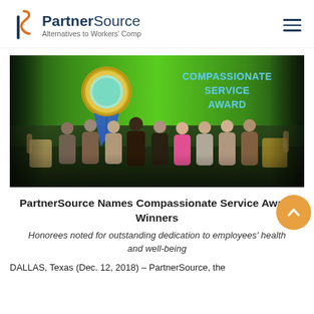PartnerSource | Alternatives to Workers' Comp
[Figure (photo): Group photo of award recipients on stage in front of a green screen displaying a blue ribbon medal and the text 'COMPASSIONATE SERVICE AWARD']
PartnerSource Names Compassionate Service Award Winners
Honorees noted for outstanding dedication to employees' health and well-being
DALLAS, Texas (Dec. 12, 2018) – PartnerSource, the